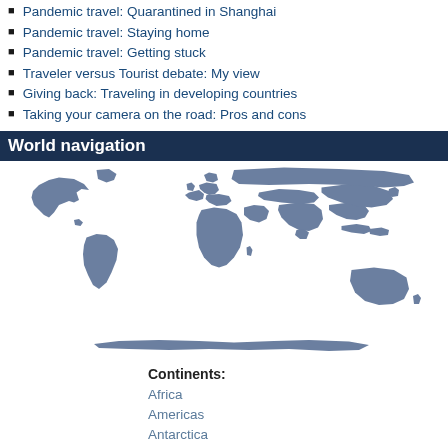Pandemic travel: Quarantined in Shanghai
Pandemic travel: Staying home
Pandemic travel: Getting stuck
Traveler versus Tourist debate: My view
Giving back: Traveling in developing countries
Taking your camera on the road: Pros and cons
World navigation
[Figure (map): World map silhouette showing all continents in grey-blue color on white background]
Continents:
Africa
Americas
Antarctica
Asia
Europe
Oceania